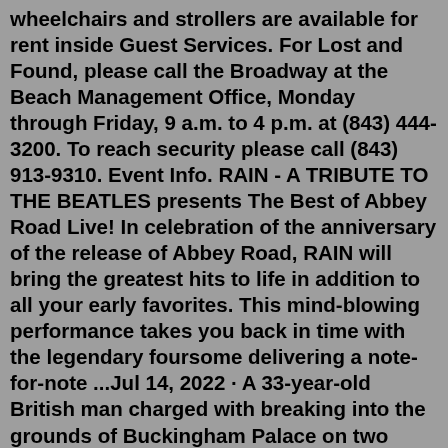wheelchairs and strollers are available for rent inside Guest Services. For Lost and Found, please call the Broadway at the Beach Management Office, Monday through Friday, 9 a.m. to 4 p.m. at (843) 444-3200. To reach security please call (843) 913-9310. Event Info. RAIN - A TRIBUTE TO THE BEATLES presents The Best of Abbey Road Live! In celebration of the anniversary of the release of Abbey Road, RAIN will bring the greatest hits to life in addition to all your early favorites. This mind-blowing performance takes you back in time with the legendary foursome delivering a note-for-note ...Jul 14, 2022 · A 33-year-old British man charged with breaking into the grounds of Buckingham Palace on two occasions in December 2021 echoes historic security breaches at the monarch's London home dating back ... The most comprehensive source for Broadway Shows, Broadway Tickets, Off-Broadway, London theater information, Tickets, Gift Certificates, Videos, News & Features ... Broadway Plaza Hotel is a boutique hotel located in the heart of Manhattan, providing...